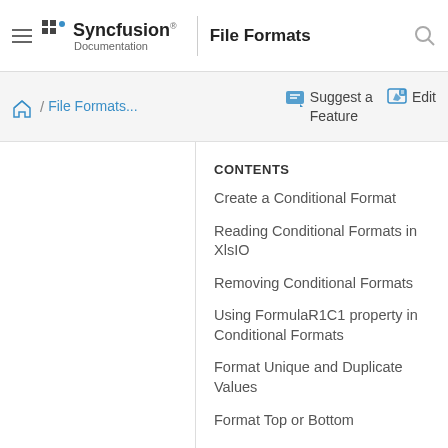Syncfusion Documentation | File Formats
Home / File Formats... | Suggest a Feature | Edit
CONTENTS
Create a Conditional Format
Reading Conditional Formats in XlsIO
Removing Conditional Formats
Using FormulaR1C1 property in Conditional Formats
Format Unique and Duplicate Values
Format Top or Bottom